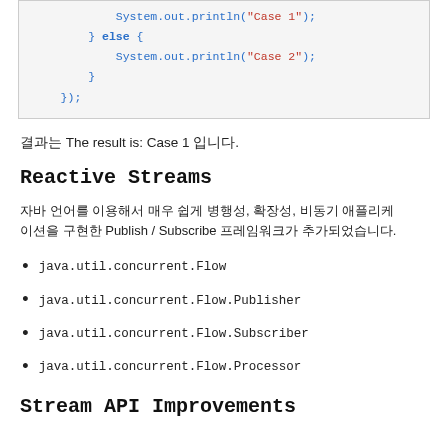[Figure (screenshot): Code snippet showing Java code with System.out.println calls inside if-else block and closing });]
결과는 The result is: Case 1 입니다.
Reactive Streams
자바 언어를 이용해서 매우 쉽게 병행성, 확장성, 비동기 애플리케이션을 구현한 Publish / Subscribe 프레임워크가 추가되었습니다.
java.util.concurrent.Flow
java.util.concurrent.Flow.Publisher
java.util.concurrent.Flow.Subscriber
java.util.concurrent.Flow.Processor
Stream API Improvements